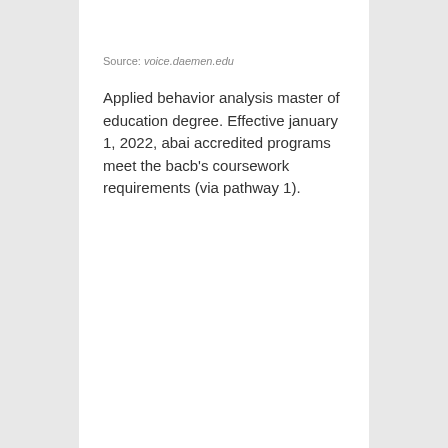Source: voice.daemen.edu
Applied behavior analysis master of education degree. Effective january 1, 2022, abai accredited programs meet the bacb's coursework requirements (via pathway 1).